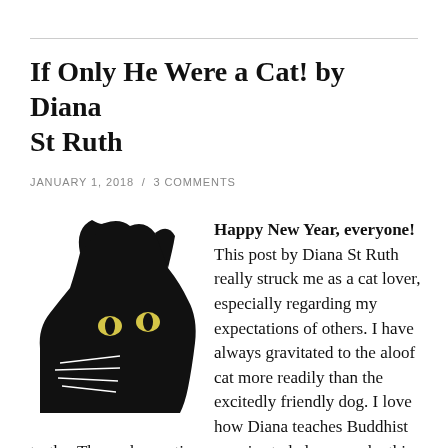If Only He Were a Cat! by Diana St Ruth
JANUARY 1, 2018 / 3 COMMENTS
[Figure (illustration): Black silhouette of a cat's face peeking from the left, with yellow eyes and white whiskers, on a white background.]
Happy New Year, everyone! This post by Diana St Ruth really struck me as a cat lover, especially regarding my expectations of others. I have always gravitated to the aloof cat more readily than the excitedly friendly dog. I love how Diana teaches Buddhist truths. These observations promise to help me make this a good